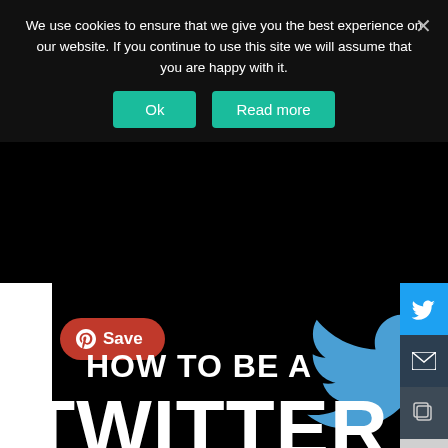We use cookies to ensure that we give you the best experience on our website. If you continue to use this site we will assume that you are happy with it.
[Figure (screenshot): Cookie consent banner with Ok and Read more teal buttons, close X button, overlaid on a black background webpage showing a Pinterest Save button (red pill shape), Twitter bird logo in blue, social sharing sidebar on right with Twitter, email, copy icons, and large white bold text reading HOW TO BE A TWITTER]
HOW TO BE A TWITTER